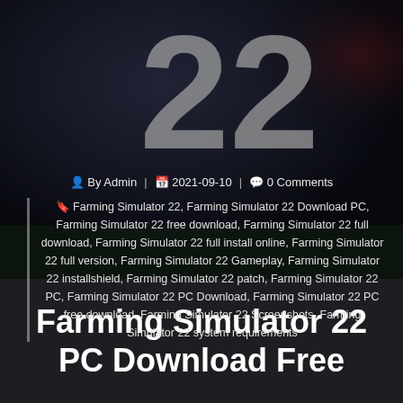[Figure (photo): Dark background hero image with large '22' numeral visible, overlaid with semi-transparent dark overlay. Background shows outdoor farming/gaming scene.]
By Admin | 2021-09-10 | 0 Comments
Farming Simulator 22, Farming Simulator 22 Download PC, Farming Simulator 22 free download, Farming Simulator 22 full download, Farming Simulator 22 full install online, Farming Simulator 22 full version, Farming Simulator 22 Gameplay, Farming Simulator 22 installshield, Farming Simulator 22 patch, Farming Simulator 22 PC, Farming Simulator 22 PC Download, Farming Simulator 22 PC free download, Farming Simulator 22 Screenshots, Farming Simulator 22 system requirements
Farming Simulator 22 PC Download Free